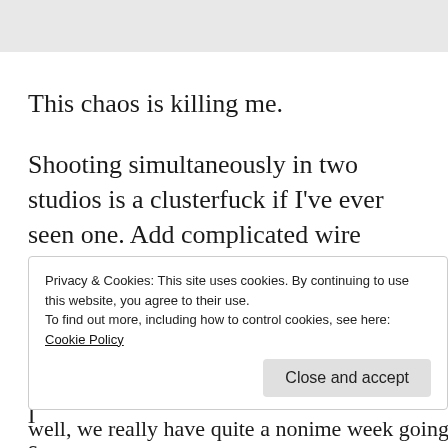This chaos is killing me.
Shooting simultaneously in two studios is a clusterfuck if I've ever seen one. Add complicated wire stunts and constantly breaking down special
Privacy & Cookies: This site uses cookies. By continuing to use this website, you agree to their use.
To find out more, including how to control cookies, see here: Cookie Policy
well, we really have quite a nonime week going on.